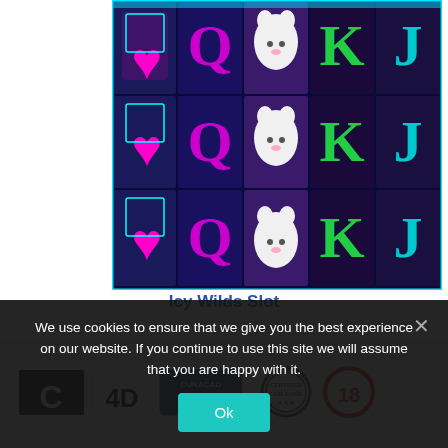[Figure (screenshot): Icy Wilds slot machine game screenshot showing a 5x3 grid with card symbols (Q, K, J), a white cat, and a pink heart symbol on a dark blue background.]
Icy Wilds Slot
[Figure (logo): Row of logos including Curacao eGaming, Certified Fair Game, and other gambling regulatory/certification badges.]
We use cookies to ensure that we give you the best experience on our website. If you continue to use this site we will assume that you are happy with it.